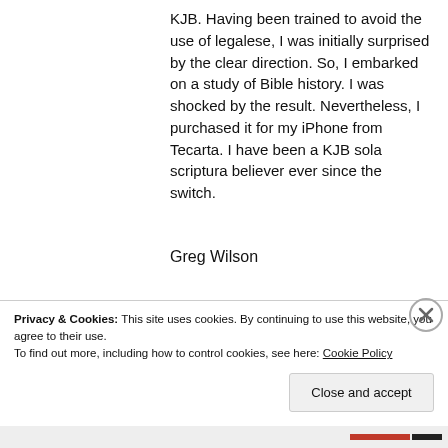KJB. Having been trained to avoid the use of legalese, I was initially surprised by the clear direction. So, I embarked on a study of Bible history. I was shocked by the result. Nevertheless, I purchased it for my iPhone from Tecarta. I have been a KJB sola scriptura believer ever since the switch.
Greg Wilson
509.991.8575
Privacy & Cookies: This site uses cookies. By continuing to use this website, you agree to their use.
To find out more, including how to control cookies, see here: Cookie Policy
Close and accept